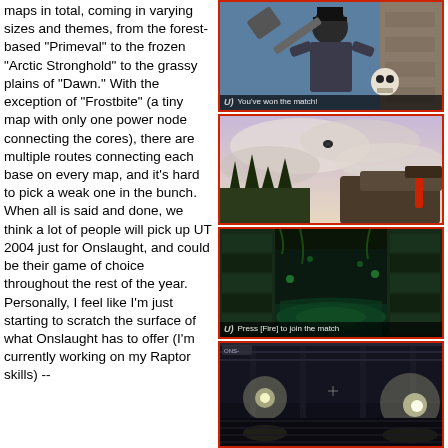maps in total, coming in varying sizes and themes, from the forest-based "Primeval" to the frozen "Arctic Stronghold" to the grassy plains of "Dawn." With the exception of "Frostbite" (a tiny map with only one power node connecting the cores), there are multiple routes connecting each base on every map, and it's hard to pick a weak one in the bunch. When all is said and done, we think a lot of people will pick up UT 2004 just for Onslaught, and could be their game of choice throughout the rest of the year. Personally, I feel like I'm just starting to scratch the surface of what Onslaught has to offer (I'm currently working on my Raptor skills) --
[Figure (screenshot): Game screenshot showing a character with top hat wielding a weapon, with caption 'You've won the match!']
[Figure (screenshot): Game screenshot showing a first-person view with a weapon raised against a dramatic sky with trees]
[Figure (screenshot): Game screenshot showing a green-lit stone corridor/cave area with caption 'Press [Fire] to join the match']
[Figure (screenshot): Game screenshot showing a dark industrial/tunnel area with lights]